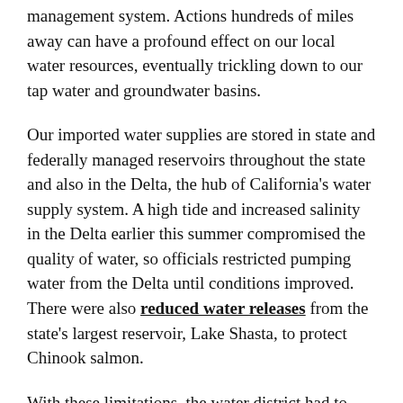management system. Actions hundreds of miles away can have a profound effect on our local water resources, eventually trickling down to our tap water and groundwater basins.
Our imported water supplies are stored in state and federally managed reservoirs throughout the state and also in the Delta, the hub of California's water supply system. A high tide and increased salinity in the Delta earlier this summer compromised the quality of water, so officials restricted pumping water from the Delta until conditions improved. There were also reduced water releases from the state's largest reservoir, Lake Shasta, to protect Chinook salmon.
With these limitations, the water district had to rely on San Luis Reservoir for most of our imported water